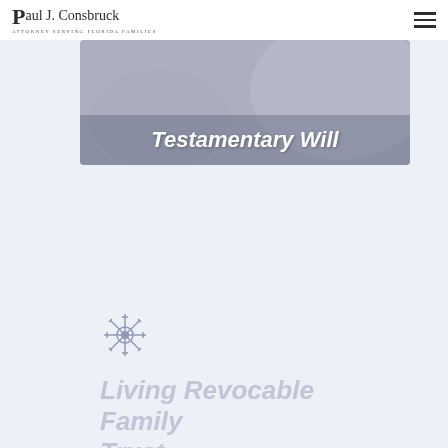Paul J. Consbruck — Attorney Serving Florida Families
[Figure (photo): Hero banner image with text overlay reading 'Testamentary Will' on a gray/muted photographic background]
[Figure (illustration): Small decorative icon/symbol, appears to be a gear or floral ornament in light gray/blue]
Living Revocable Family Trust